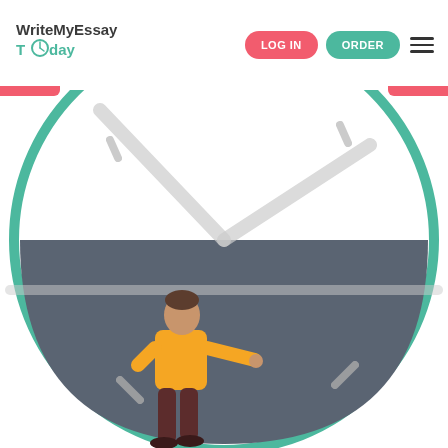[Figure (logo): WriteMyEssayToday logo with clock icon in the letter O]
[Figure (illustration): Website navigation bar with LOG IN (red) and ORDER (green) buttons and hamburger menu, followed by a large circular gauge/dial illustration with a person in an orange hoodie presenting to a dark slate-colored lower half circle, with a green ring border and light gray clock hands overlaid]